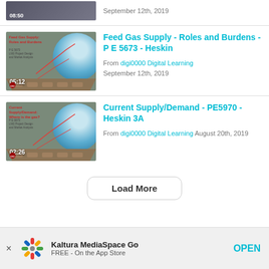September 12th, 2019
[Figure (screenshot): Video thumbnail for Feed Gas Supply - Roles and Burdens with globe and LNG tanker, duration 05:12]
Feed Gas Supply - Roles and Burdens - P E 5673 - Heskin
From digi0000 Digital Learning September 12th, 2019
[Figure (screenshot): Video thumbnail for Current Supply/Demand: Where is the gas? with globe and LNG tanker, duration 02:26]
Current Supply/Demand - PE5970 - Heskin 3A
From digi0000 Digital Learning August 20th, 2019
Load More
Kaltura MediaSpace Go FREE - On the App Store OPEN